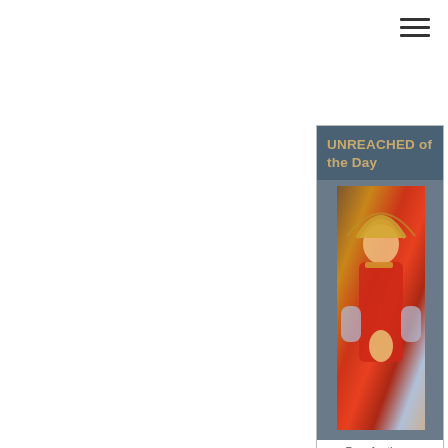[Figure (other): Hamburger/navigation menu icon — three horizontal lines in top-right corner]
UNREACHED of the Day
[Figure (photo): Photo of a woman in traditional Malaysian/Minangkabau costume with ornate headdress, golden jewelry, and red ceremonial dress, hands pressed together in greeting pose]
Pray for the ...
Minangkabau, Orang Negeri of Malaysia
Population:
967,000
Language:
Malay
Religion:
Islam
Status:
Unreached